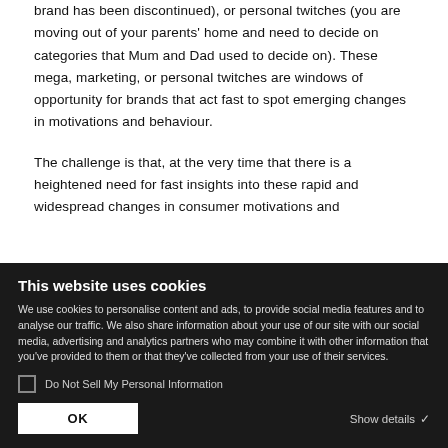brand has been discontinued), or personal twitches (you are moving out of your parents' home and need to decide on categories that Mum and Dad used to decide on). These mega, marketing, or personal twitches are windows of opportunity for brands that act fast to spot emerging changes in motivations and behaviour.
The challenge is that, at the very time that there is a heightened need for fast insights into these rapid and widespread changes in consumer motivations and
This website uses cookies
We use cookies to personalise content and ads, to provide social media features and to analyse our traffic. We also share information about your use of our site with our social media, advertising and analytics partners who may combine it with other information that you've provided to them or that they've collected from your use of their services.
Do Not Sell My Personal Information
OK
Show details